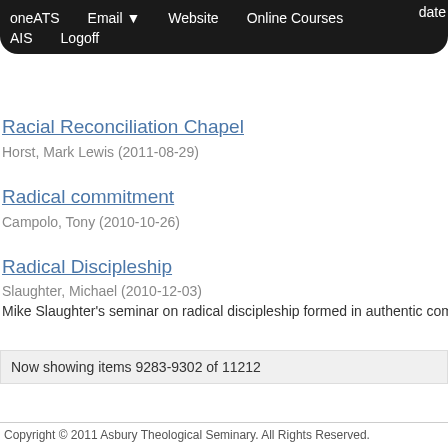oneATS  Email ▼  Website  Online Courses  AIS  Logoff
Racial Reconciliation Chapel
Horst, Mark Lewis (2011-08-29)
Radical commitment
Campolo, Tony (2010-10-26)
Radical Discipleship
Slaughter, Michael (2010-12-03)
Mike Slaughter's seminar on radical discipleship formed in authentic communi…
Now showing items 9283-9302 of 11212
Copyright © 2011 Asbury Theological Seminary. All Rights Reserved.